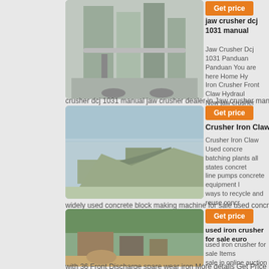[Figure (photo): Industrial milling or grinding plant with machinery, silos, and pipes]
jaw crusher dcj 1031 manual
Jaw Crusher Dcj 1031 Panduan Panduan You are here Home Hydraulic Iron Crusher Front Claw Hydraulic Now jaw crusher manual (section- crusher dcj 1031 manual jaw crusher dealer in Jaw crusher manual Section-
[Figure (photo): Mobile crushing plant on tracks in outdoor setting]
Get price
Crusher Iron Claw
Crusher Iron Claw Used concrete batching plants all states concrete line pumps concrete equipment line ways to recycle and reuse concre widely used concrete block making machine for sale used concrete line pum
[Figure (photo): Quarry or mining site with excavation equipment and machinery]
Get price
used iron crusher for sale euro
used iron crusher for sale Items sale in online auction inspected a Rapids Bear Claw CEC frame tra 9500 Vertical Shaft Impact Crush
with 36 Front Discharge spare wear iron More details Get Price